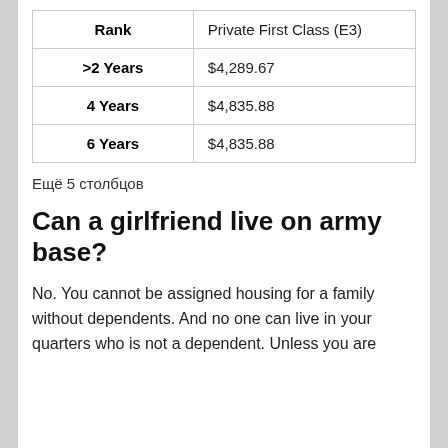| Rank | Private First Class (E3) |
| --- | --- |
| >2 Years | $4,289.67 |
| 4 Years | $4,835.88 |
| 6 Years | $4,835.88 |
Ещё 5 столбцов
Can a girlfriend live on army base?
No. You cannot be assigned housing for a family without dependents. And no one can live in your quarters who is not a dependent. Unless you are